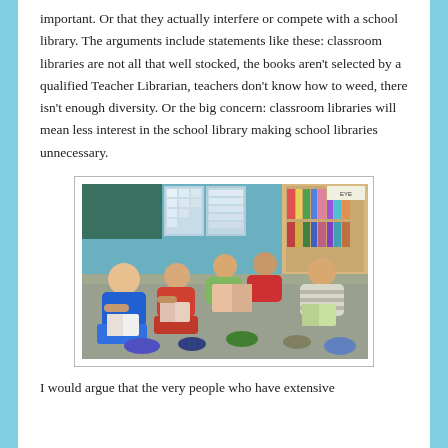important. Or that they actually interfere or compete with a school library. The arguments include statements like these: classroom libraries are not all that well stocked, the books aren't selected by a qualified Teacher Librarian, teachers don't know how to weed, there isn't enough diversity. Or the big concern: classroom libraries will mean less interest in the school library making school libraries unnecessary.
[Figure (photo): Group of young boys sitting on a classroom floor reading books, with colorful classroom displays and bookshelves visible in the background.]
I would argue that the very people who have extensive